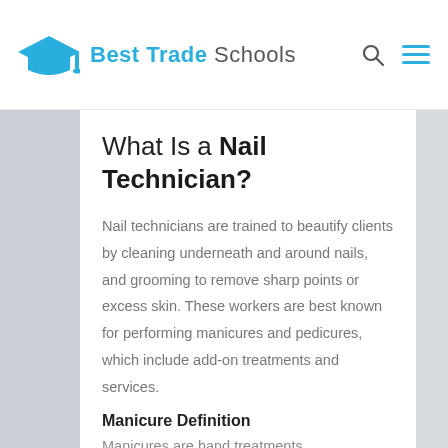Best Trade Schools
What Is a Nail Technician?
Nail technicians are trained to beautify clients by cleaning underneath and around nails, and grooming to remove sharp points or excess skin. These workers are best known for performing manicures and pedicures, which include add-on treatments and services.
Manicure Definition
Manicures are hand treatments